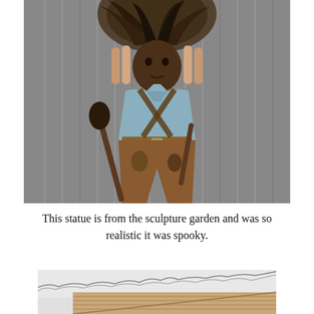[Figure (photo): Bronze statue of a Native American chief wearing a large feathered headdress, a light blue shirt, and holding a staff or weapon, placed against a gray corrugated metal wall background.]
This statue is from the sculpture garden and was so realistic it was spooky.
[Figure (photo): Partial view of a building exterior with wooden siding and a bright overcast sky with bare tree branches visible at the top.]